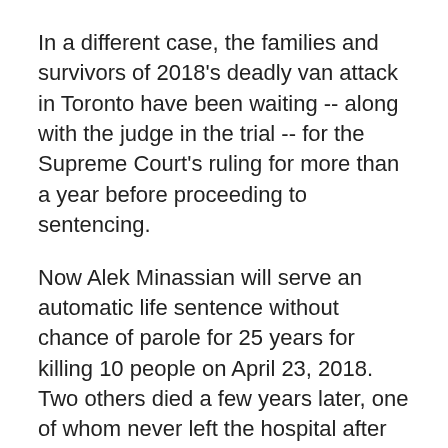In a different case, the families and survivors of 2018's deadly van attack in Toronto have been waiting -- along with the judge in the trial -- for the Supreme Court's ruling for more than a year before proceeding to sentencing.
Now Alek Minassian will serve an automatic life sentence without chance of parole for 25 years for killing 10 people on April 23, 2018. Two others died a few years later, one of whom never left the hospital after the rampage.
Victims had believed the prosecution would apply for several consecutive periods of parole ineligibility for Minassian, who was found guilty of 10 counts of first-degree murder last year.
Cathy Riddell is one of the victims who survived